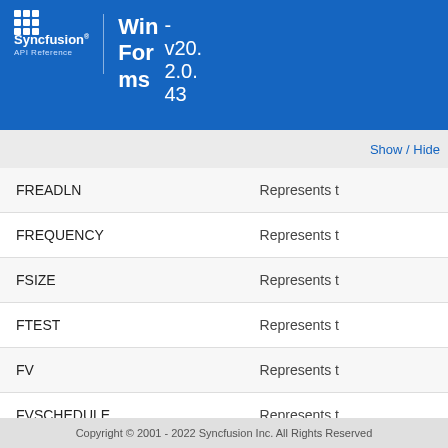Syncfusion API Reference — Win Forms - v20.2.0.43
Show / Hide
| Name | Description |
| --- | --- |
| FREADLN | Represents t |
| FREQUENCY | Represents t |
| FSIZE | Represents t |
| FTEST | Represents t |
| FV | Represents t |
| FVSCHEDULE | Represents t |
| FWRITE | sents t |
| FWRITELN | Represents t |
Copyright © 2001 - 2022 Syncfusion Inc. All Rights Reserved